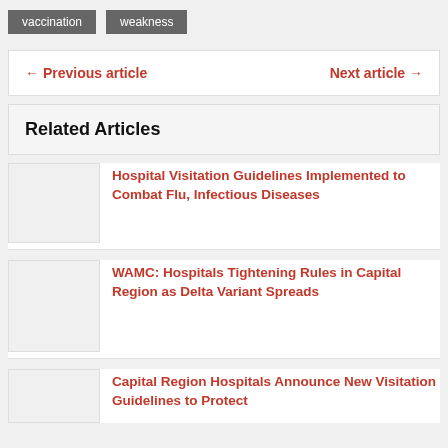vaccination
weakness
← Previous article    Next article →
Related Articles
Hospital Visitation Guidelines Implemented to Combat Flu, Infectious Diseases
WAMC: Hospitals Tightening Rules in Capital Region as Delta Variant Spreads
Capital Region Hospitals Announce New Visitation Guidelines to Protect